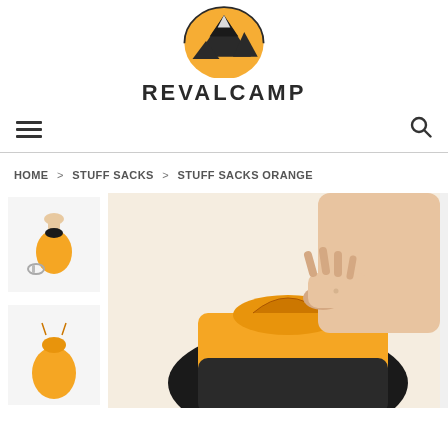[Figure (logo): RevalCamp orange mountain peak logo with text REVALCAMP below]
Navigation bar with hamburger menu and search icon
HOME > STUFF SACKS > STUFF SACKS ORANGE
[Figure (photo): Two small thumbnail images on the left: top shows hand holding small orange stuff sack with carabiner, bottom shows orange drawstring stuff sack. Main large image on the right shows a hand pinching/closing the top of an orange and black stuff sack.]